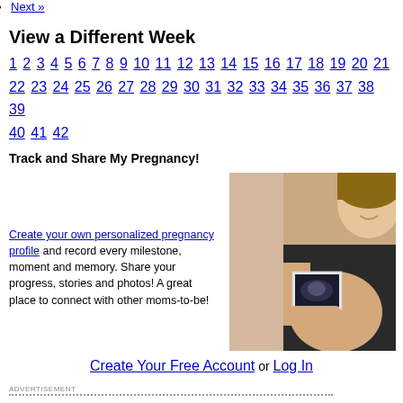Next »
View a Different Week
1 2 3 4 5 6 7 8 9 10 11 12 13 14 15 16 17 18 19 20 21 22 23 24 25 26 27 28 29 30 31 32 33 34 35 36 37 38 39 40 41 42
Track and Share My Pregnancy!
Create your own personalized pregnancy profile and record every milestone, moment and memory. Share your progress, stories and photos! A great place to connect with other moms-to-be!
[Figure (photo): Pregnant woman holding an ultrasound photo]
Create Your Free Account or Log In
ADVERTISEMENT